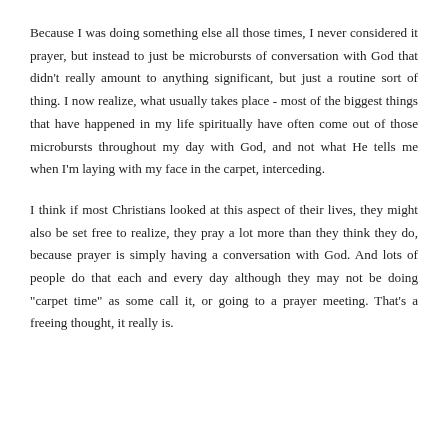Because I was doing something else all those times, I never considered it prayer, but instead to just be microbursts of conversation with God that didn't really amount to anything significant, but just a routine sort of thing. I now realize, what usually takes place - most of the biggest things that have happened in my life spiritually have often come out of those microbursts throughout my day with God, and not what He tells me when I'm laying with my face in the carpet, interceding.
I think if most Christians looked at this aspect of their lives, they might also be set free to realize, they pray a lot more than they think they do, because prayer is simply having a conversation with God. And lots of people do that each and every day although they may not be doing "carpet time" as some call it, or going to a prayer meeting. That's a freeing thought, it really is.